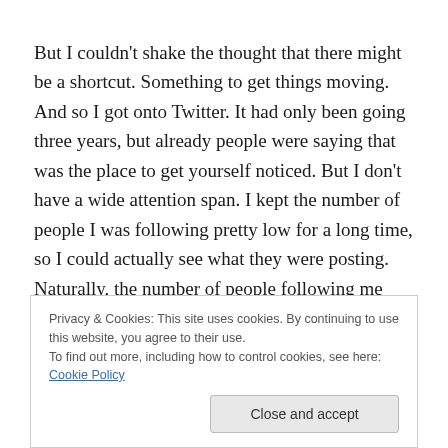But I couldn't shake the thought that there might be a shortcut. Something to get things moving. And so I got onto Twitter. It had only been going three years, but already people were saying that was the place to get yourself noticed. But I don't have a wide attention span. I kept the number of people I was following pretty low for a long time, so I could actually see what they were posting. Naturally, the number of people following me stayed low
Privacy & Cookies: This site uses cookies. By continuing to use this website, you agree to their use.
To find out more, including how to control cookies, see here: Cookie Policy
the platform and the bounds of human decency (not